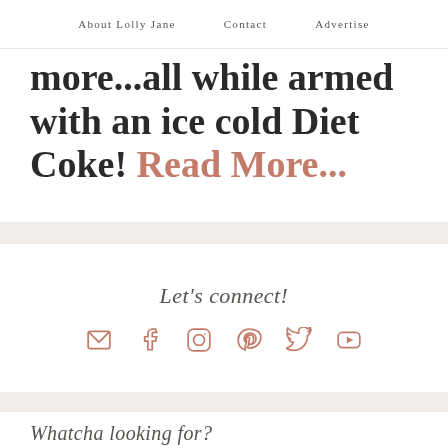About Lolly Jane   Contact   Advertise
more...all while armed with an ice cold Diet Coke! Read More...
Let's connect!
[Figure (infographic): Social media icon row: email, facebook, instagram, pinterest, twitter, youtube — all in dusty rose/terracotta color]
Whatcha looking for?
Search this website